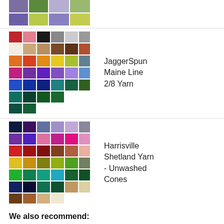[Figure (photo): Partial top image showing yarn color swatches in purple and yellow-green tones]
[Figure (photo): JaggerSpun Maine Line 2/8 Yarn color swatch grid showing many colors including red, pink, black, gray, white, brown, orange, yellow, green, blue, purple, teal, and more]
JaggerSpun Maine Line 2/8 Yarn
[Figure (photo): Harrisville Shetland Yarn - Unwashed Cones color swatch grid showing many colors including dark blue, purple, lavender, pink, magenta, red, brown, yellow, olive, green, teal, teal-blue, dark green, navy, tan, beige, and more]
Harrisville Shetland Yarn - Unwashed Cones
We also recommend:
Waffle Weave Towels or Camp & Cottage Towels